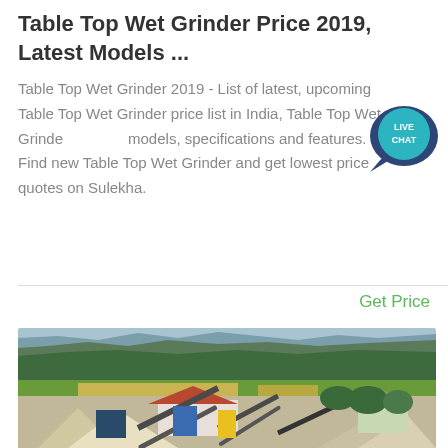Table Top Wet Grinder Price 2019, Latest Models ...
Table Top Wet Grinder 2019 - List of latest, upcoming Table Top Wet Grinder price list in India, Table Top Wet Grinder models, specifications and features. Find new Table Top Wet Grinder and get lowest price quotes on Sulekha.
Get Price
[Figure (photo): Aerial photo of an industrial stone crushing or quarry plant with conveyor belts and machinery in a valley with green hills and mountains in the background.]